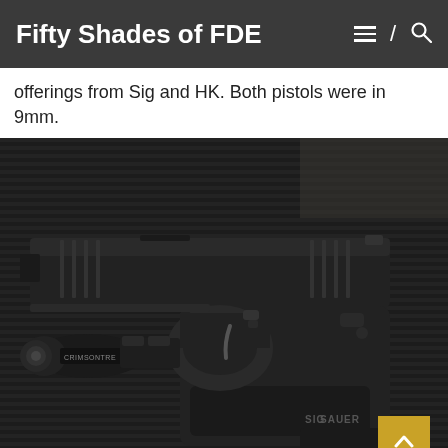Fifty Shades of FDE
offerings from Sig and HK. Both pistols were in 9mm.
[Figure (photo): A Sig Sauer pistol with a tactical flashlight/weapon light mounted on the rail, resting on a dark ribbed mat surface. The pistol is matte black and the SIG SAUER logo is visible on the grip.]